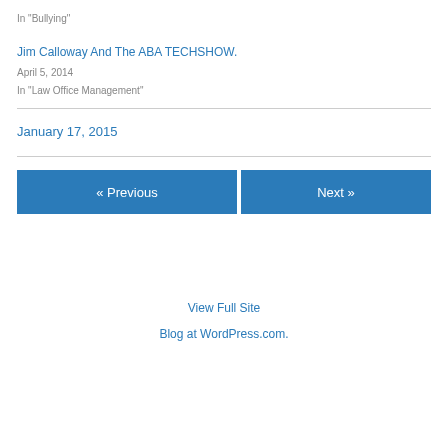In "Bullying"
Jim Calloway And The ABA TECHSHOW.
April 5, 2014
In "Law Office Management"
January 17, 2015
« Previous
Next »
View Full Site
Blog at WordPress.com.